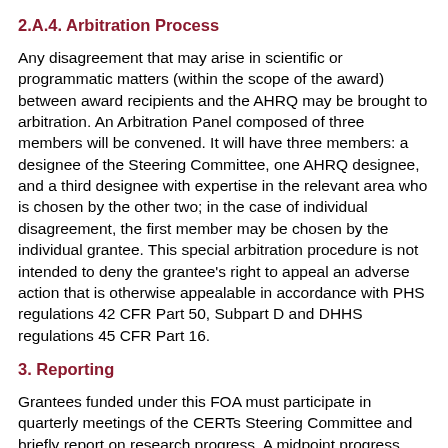2.A.4. Arbitration Process
Any disagreement that may arise in scientific or programmatic matters (within the scope of the award) between award recipients and the AHRQ may be brought to arbitration.  An Arbitration Panel composed of three members will be convened.  It will have three members: a designee of the Steering Committee, one AHRQ designee, and a third designee with expertise in the relevant area who is chosen by the other two; in the case of individual disagreement, the first member may be chosen by the individual grantee.  This special arbitration procedure is not intended to deny the grantee's right to appeal an adverse action that is otherwise appealable in accordance with PHS regulations 42 CFR Part 50, Subpart D and DHHS regulations 45 CFR Part 16.
3. Reporting
Grantees funded under this FOA must participate in quarterly meetings of the CERTs Steering Committee and briefly report on research progress.   A midpoint progress report must be submitted no later than the halfway point of the project period; for a 12 month project period, this must be no later than 7 months after award, and for an 18 month project